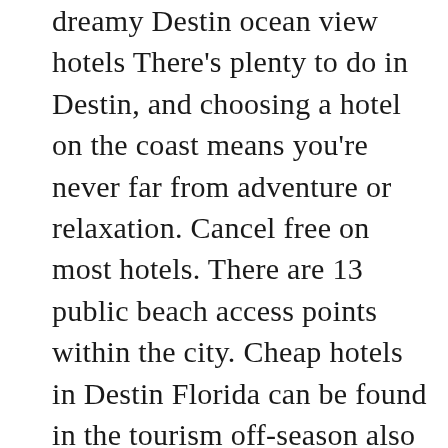dreamy Destin ocean view hotels There's plenty to do in Destin, and choosing a hotel on the coast means you're never far from adventure or relaxation. Cancel free on most hotels. There are 13 public beach access points within the city. Cheap hotels in Destin Florida can be found in the tourism off-season also when you book your reservations plenty in advance if you are planning to travel between May and September. Fort walton beach destin is known for its beaches and sunsets. The Embassy Suites by Hilton Destin is a good choice that offers both free parking and breakfast. This Destin, Florida hotel is located across the street from the beach and provides an outdoor pool and a complimentary made-